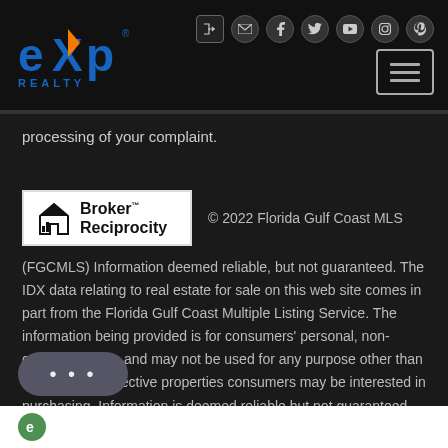eXp Realty - header with logo and social icons navigation
processing of your complaint.
[Figure (logo): Broker Reciprocity logo - house icon with text Broker Reciprocity]
© 2022 Florida Gulf Coast MLS (FGCMLS) Information deemed reliable, but not guaranteed. The IDX data relating to real estate for sale on this web site comes in part from the Florida Gulf Coast Multiple Listing Service. The information being provided is for consumers' personal, non-commercial use and may not be used for any purpose other than to identify prospective properties consumers may be interested in purchasing. Information is deemed reliable but not guaranteed.